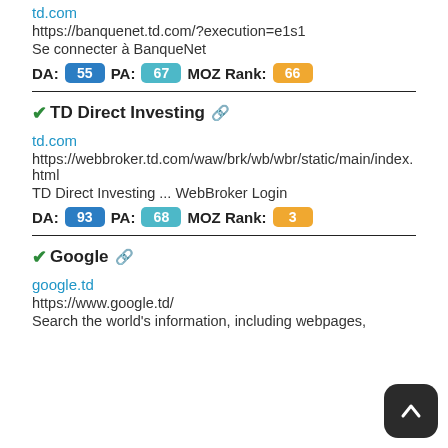td.com
https://banquenet.td.com/?execution=e1s1
Se connecter à BanqueNet
DA: 55  PA: 67  MOZ Rank: 66
✓TD Direct Investing 🔗
td.com
https://webbroker.td.com/waw/brk/wb/wbr/static/main/index.html
TD Direct Investing ... WebBroker Login
DA: 93  PA: 68  MOZ Rank: 3
✓Google 🔗
google.td
https://www.google.td/
Search the world's information, including webpages,